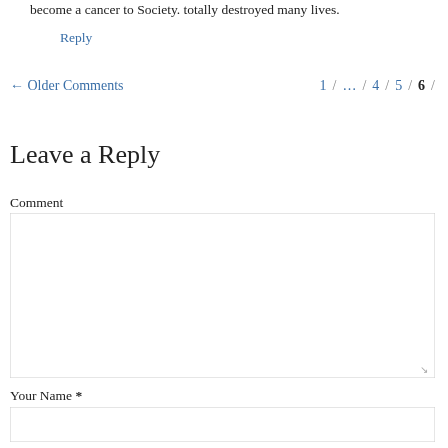become a cancer to Society. totally destroyed many lives.
Reply
← Older Comments   1 / … / 4 / 5 / 6 /
Leave a Reply
Comment
Your Name *